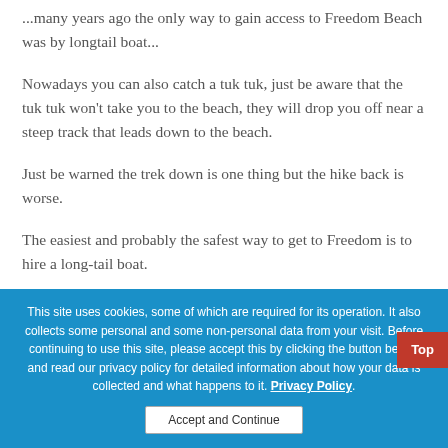...many years ago the only way to gain access to Freedom Beach was by longtail boat...
Nowadays you can also catch a tuk tuk, just be aware that the tuk tuk won't take you to the beach, they will drop you off near a steep track that leads down to the beach.
Just be warned the trek down is one thing but the hike back is worse.
The easiest and probably the safest way to get to Freedom is to hire a long-tail boat.
This site uses cookies, some of which are required for its operation. It also collects some personal and some non-personal data from your visit. Before continuing to use this site, please accept this by clicking the button below, and read our privacy policy for detailed information about how your data is collected and what happens to it. Privacy Policy.
Accept and Continue